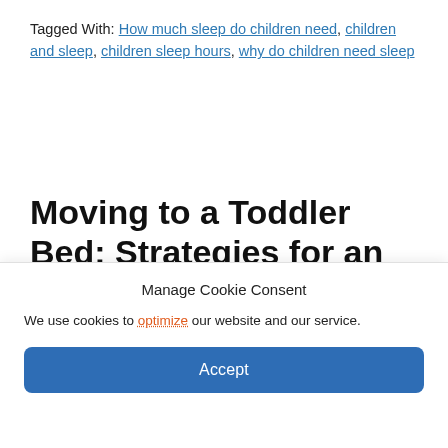Tagged With: How much sleep do children need, children and sleep, children sleep hours, why do children need sleep
Moving to a Toddler Bed: Strategies for an Easy Transition
by DP Nguyen — 1 Comment
Manage Cookie Consent
We use cookies to optimize our website and our service.
Accept